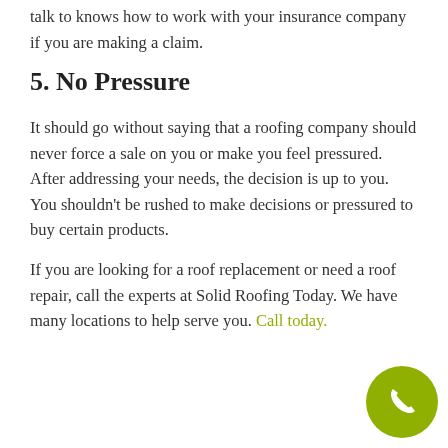talk to knows how to work with your insurance company if you are making a claim.
5. No Pressure
It should go without saying that a roofing company should never force a sale on you or make you feel pressured. After addressing your needs, the decision is up to you. You shouldn't be rushed to make decisions or pressured to buy certain products.
If you are looking for a roof replacement or need a roof repair, call the experts at Solid Roofing Today. We have many locations to help serve you. Call today.